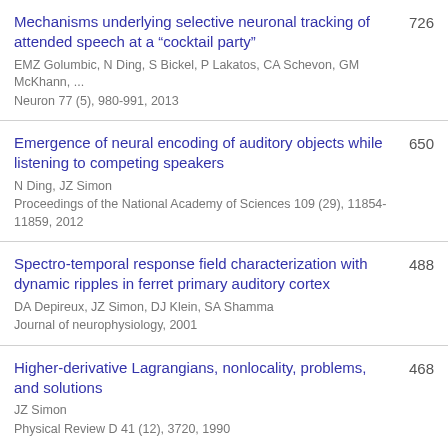Mechanisms underlying selective neuronal tracking of attended speech at a “cocktail party” | EMZ Golumbic, N Ding, S Bickel, P Lakatos, CA Schevon, GM McKhann, ... | Neuron 77 (5), 980-991, 2013 | 726
Emergence of neural encoding of auditory objects while listening to competing speakers | N Ding, JZ Simon | Proceedings of the National Academy of Sciences 109 (29), 11854-11859, 2012 | 650
Spectro-temporal response field characterization with dynamic ripples in ferret primary auditory cortex | DA Depireux, JZ Simon, DJ Klein, SA Shamma | Journal of neurophysiology, 2001 | 488
Higher-derivative Lagrangians, nonlocality, problems, and solutions | JZ Simon | Physical Review D 41 (12), 3720, 1990 | 468